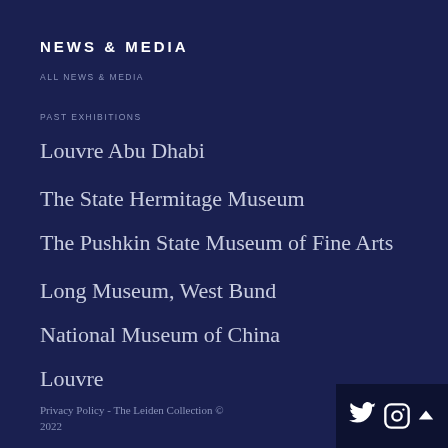NEWS & MEDIA
ALL NEWS & MEDIA
PAST EXHIBITIONS
Louvre Abu Dhabi
The State Hermitage Museum
The Pushkin State Museum of Fine Arts
Long Museum, West Bund
National Museum of China
Louvre
Privacy Policy - The Leiden Collection © 2022